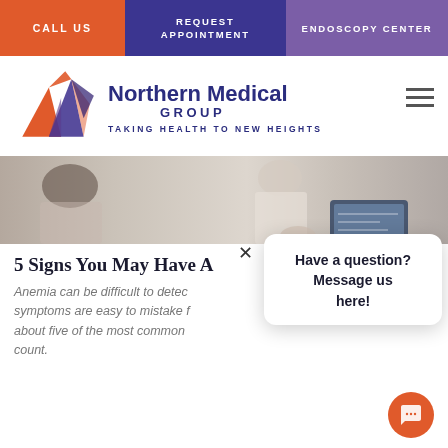CALL US | REQUEST APPOINTMENT | ENDOSCOPY CENTER
[Figure (logo): Northern Medical Group logo — stylized arrow/N shape in orange and purple with text 'Northern Medical Group' and tagline 'TAKING HEALTH TO NEW HEIGHTS']
[Figure (photo): Hero image showing a doctor or medical professional with a patient, tablet device visible in the background]
5 Signs You May Have A
Anemia can be difficult to detect symptoms are easy to mistake f about five of the most common count.
[Figure (screenshot): Chat popup widget with close X button and text 'Have a question? Message us here!' with orange chat FAB button in bottom right]